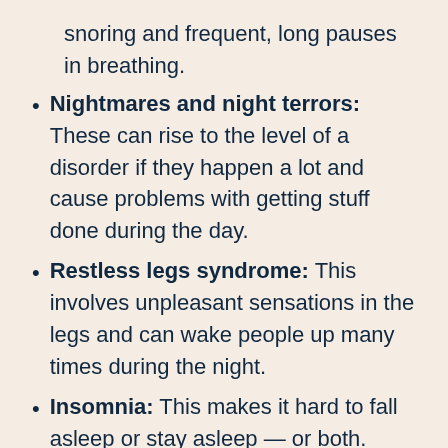snoring and frequent, long pauses in breathing.
Nightmares and night terrors: These can rise to the level of a disorder if they happen a lot and cause problems with getting stuff done during the day.
Restless legs syndrome: This involves unpleasant sensations in the legs and can wake people up many times during the night.
Insomnia: This makes it hard to fall asleep or stay asleep — or both.